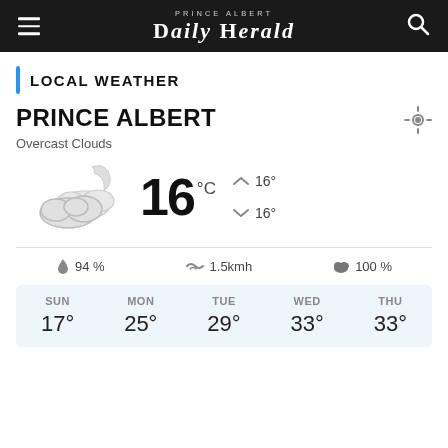Prince Albert Daily Herald
LOCAL WEATHER
PRINCE ALBERT
Overcast Clouds
[Figure (illustration): Cloudy night weather icon with moon and clouds]
16 °C   ↑ 16°   ↓ 16°
💧 94 %   ⇄ 1.5kmh   ☁ 100 %
| SUN | MON | TUE | WED | THU |
| --- | --- | --- | --- | --- |
| 17° | 25° | 29° | 33° | 33° |